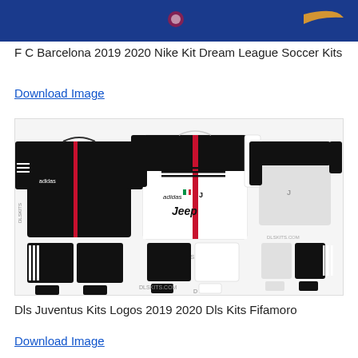[Figure (illustration): FC Barcelona 2019 2020 Nike Kit Dream League Soccer Kits - dark blue banner image with kit designs]
F C Barcelona 2019 2020 Nike Kit Dream League Soccer Kits
Download Image
[Figure (illustration): Dls Juventus Kits Logos 2019 2020 - black and white Juventus kit template with Jeep sponsor and Adidas logo, DLSKITS.COM watermark]
Dls Juventus Kits Logos 2019 2020 Dls Kits Fifamoro
Download Image